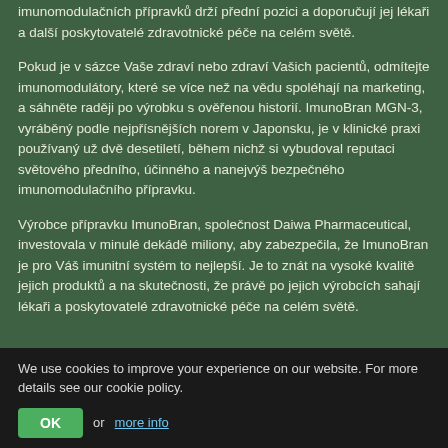imunomodulačních přípravků drží přední pozici a doporučují jej lékaři a další poskytovatelé zdravotnické péče na celém světě.
Pokud je v sázce Vaše zdraví nebo zdraví Vašich pacientů, odmítejte imunomodulátory, které se více než na vědu spoléhají na marketing, a sáhněte raději po výrobku s ověřenou historií. ImunoBran MGN-3, vyráběný podle nejpřísnějších norem v Japonsku, je v klinické praxi používaný už dvě desetiletí, během nichž si vybudoval reputaci světového předního, účinného a nanejvýš bezpečného imunomodulačního přípravku.
Výrobce přípravku ImunoBran, společnost Daiwa Pharmaceutical, investovala v minulé dekádě miliony, aby zabezpečila, že ImunoBran je pro Váš imunitní systém to nejlepší. Je to znát na vysoké kvalitě jejich produktů a na skutečnosti, že právě po jejich výrobcích sahají lékaři a poskytovatelé zdravotnické péče na celém světě.
We use cookies to improve your experience on our website. For more details see our cookie policy.